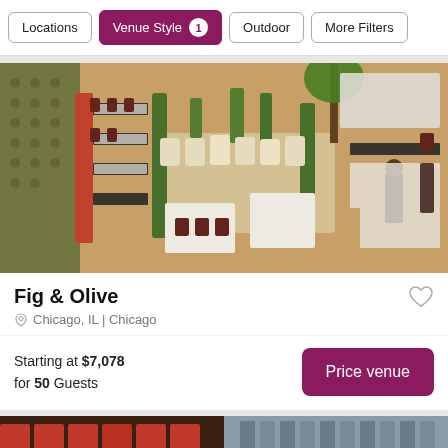Locations | Venue Style 1 | Outdoor | More Filters
[Figure (photo): Aerial/overhead view of upscale restaurant interior with white tablecloths, dark wood chairs, red banquette seating, green plant dividers, and a waiter in black uniform]
Fig & Olive
Chicago, IL | Chicago
Starting at $7,078 for 50 Guests
[Figure (photo): Partial view of another venue card below, showing red/orange seating elements]